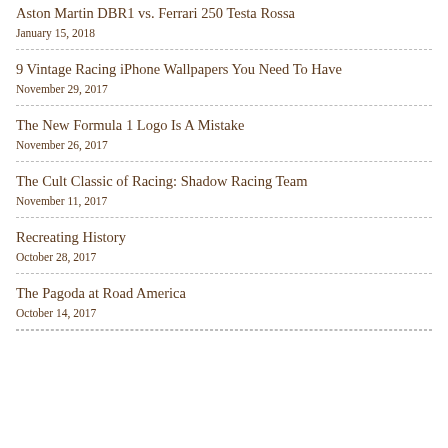Aston Martin DBR1 vs. Ferrari 250 Testa Rossa
January 15, 2018
9 Vintage Racing iPhone Wallpapers You Need To Have
November 29, 2017
The New Formula 1 Logo Is A Mistake
November 26, 2017
The Cult Classic of Racing: Shadow Racing Team
November 11, 2017
Recreating History
October 28, 2017
The Pagoda at Road America
October 14, 2017